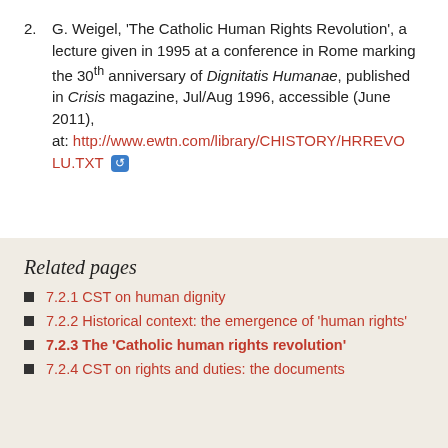2. G. Weigel, 'The Catholic Human Rights Revolution', a lecture given in 1995 at a conference in Rome marking the 30th anniversary of Dignitatis Humanae, published in Crisis magazine, Jul/Aug 1996, accessible (June 2011), at: http://www.ewtn.com/library/CHISTORY/HRREVOLUT.TXT
Related pages
7.2.1 CST on human dignity
7.2.2 Historical context: the emergence of 'human rights'
7.2.3 The 'Catholic human rights revolution'
7.2.4 CST on rights and duties: the documents